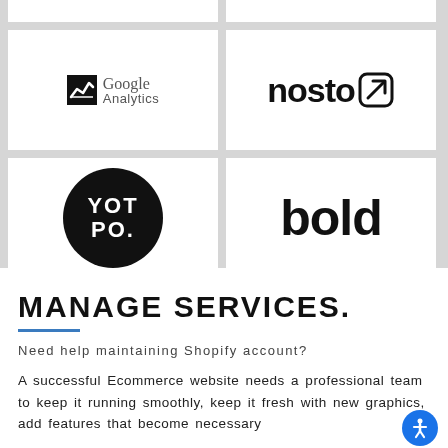[Figure (logo): Google Analytics logo with chart icon]
[Figure (logo): Nosto logo with arrow icon]
[Figure (logo): Yotpo logo in black circle]
[Figure (logo): Bold logo in bold black text]
MANAGE SERVICES.
Need help maintaining Shopify account?
A successful Ecommerce website needs a professional team to keep it running smoothly, keep it fresh with new graphics, add features that become necessary